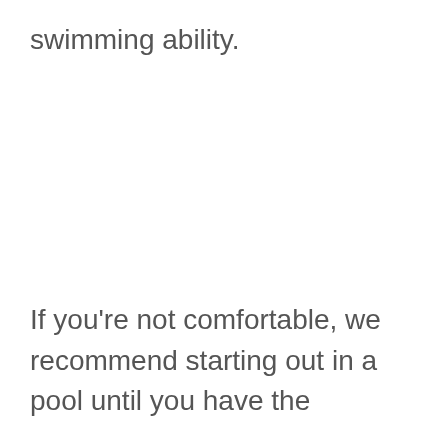swimming ability.
If you're not comfortable, we recommend starting out in a pool until you have the